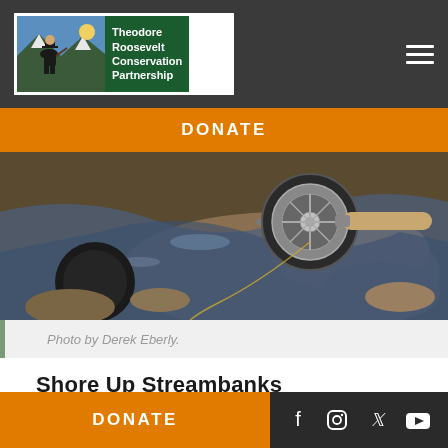Theodore Roosevelt Conservation Partnership
DONATE
[Figure (photo): Close-up photo of a fly fishing reel and rod in a rocky stream with flowing water.]
Photo by Derek Eberly.
Shore Up Streambanks
One of the most obvious impacts of climate change
DONATE